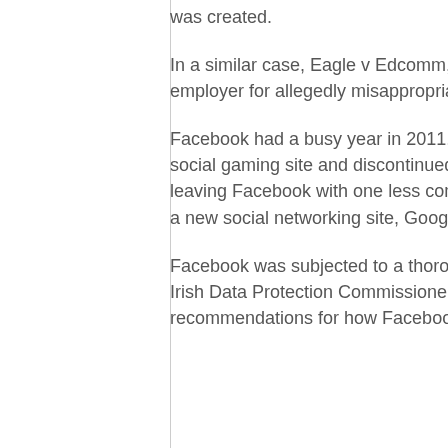was created.
In a similar case, Eagle v Edcomm, Inc, et al., the Plaintiff sued her former employer for allegedly misappropriating her LinkedIn account.
Facebook had a busy year in 2011. Friendster repositioned itself as a social gaming site and discontinued its user social network accounts, leaving Facebook with one less competitor. However, Google introduced a new social networking site, Google Plus.
Facebook was subjected to a thorough and detailed audit by the Office of Irish Data Protection Commissioner, which gave a dozen recommendations for how Facebook can improve privacy protection and